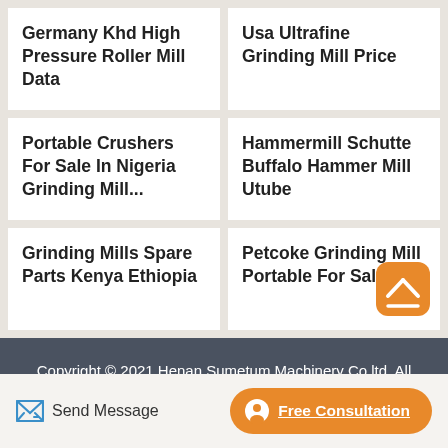Germany Khd High Pressure Roller Mill Data
Usa Ultrafine Grinding Mill Price
Portable Crushers For Sale In Nigeria Grinding Mill...
Hammermill Schutte Buffalo Hammer Mill Utube
Grinding Mills Spare Parts Kenya Ethiopia
Petcoke Grinding Mill Portable For Sale
Copyright © 2021.Henan Sumetum Machinery Co.ltd. All rights reserved. Sitemap
Send Message
Free Consultation